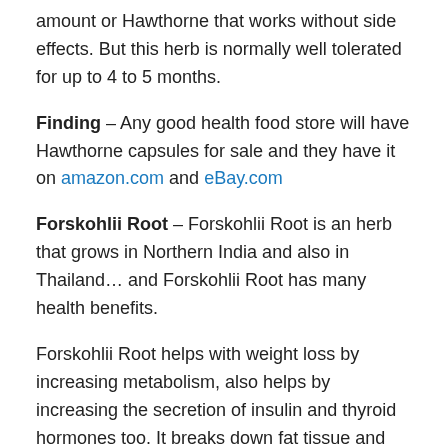amount or Hawthorne that works without side effects. But this herb is normally well tolerated for up to 4 to 5 months.
Finding – Any good health food store will have Hawthorne capsules for sale and they have it on amazon.com and eBay.com
Forskohlii Root – Forskohlii Root is an herb that grows in Northern India and also in Thailand… and Forskohlii Root has many health benefits.
Forskohlii Root helps with weight loss by increasing metabolism, also helps by increasing the secretion of insulin and thyroid hormones too. It breaks down fat tissue and Forskohlii Root stimulates the digestive tract and helps in the assimilation of food. Studies have shown that Forskohlii Root or some makers call it Forslean can help a person lose weight, and stop you from feeling hungry, and